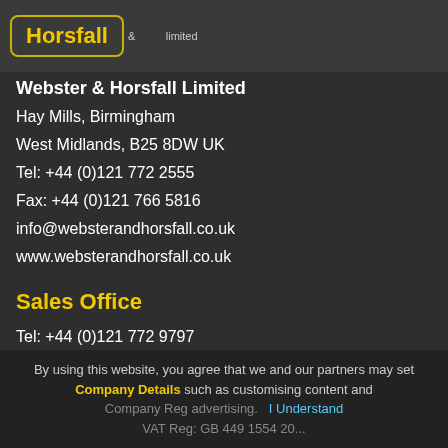[Figure (logo): Webster & Horsfall logo in yellow text with border, on dark background]
Webster & Horsfall Limited
Hay Mills, Birmingham
West Midlands, B25 8DW UK
Tel: +44 (0)121 772 2555
Fax: +44 (0)121 766 5816
info@websterandhorsfall.co.uk
www.websterandhorsfall.co.uk
Sales Office
Tel: +44 (0)121 772 9797
Fax: +44 (0)121 766 5816
sales@websterandhorsfall.co.uk
By using this website, you agree that we and our partners may set cookies for purposes such as customising content and advertising.   I Understand
Company Details
Company Reg advertising.